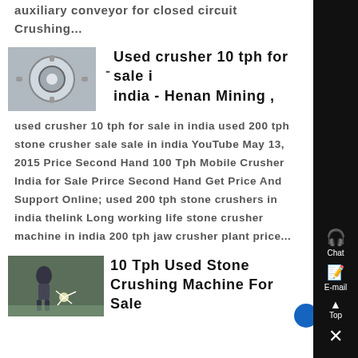auxiliary conveyor for closed circuit Crushing...
Used crusher 10 tph for sale in india - Henan Mining ,
used crusher 10 tph for sale in india used 200 tph stone crusher sale sale in india YouTube May 13, 2015 Price Second Hand 100 Tph Mobile Crusher India for Sale Prirce Second Hand Get Price And Support Online; used 200 tph stone crushers in india thelink Long working life stone crusher machine in india 200 tph jaw crusher plant price...
10 Tph Used Stone Crushing Machine For Sale